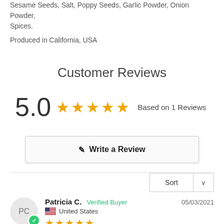Sesame Seeds, Salt, Poppy Seeds, Garlic Powder, Onion Powder, Spices.
Produced in California, USA
Customer Reviews
5.0 ★★★★★ Based on 1 Reviews
✎ Write a Review
Sort ∨
Patricia C.  Verified Buyer  05/03/2021
🇺🇸 United States
★★★★★